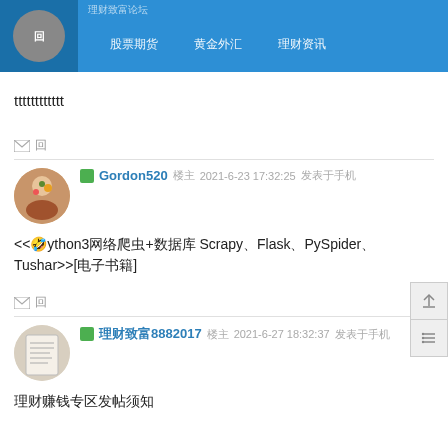Navigation bar with logo, links
tttttttttttt
✉ 回
Gordon520 楼主 2021-6-23 17:32:25 发表于手机
<<🤣ython3网络爬虫+数据库 Scrapy、Flask、PySpider、Tushar>>[电子书籍]
✉ 回
理财致富8882017 楼主 2021-6-27 18:32:37 发表于手机
理财赚钱专区发帖须知